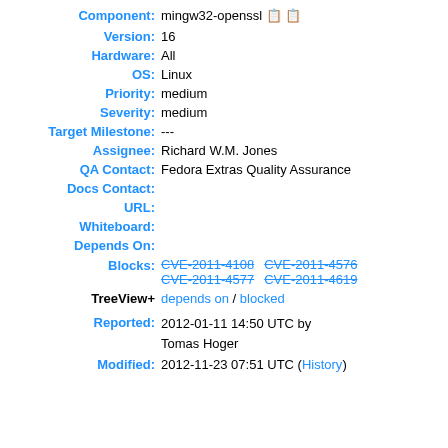Component: mingw32-openssl
Version: 16
Hardware: All
OS: Linux
Priority: medium
Severity: medium
Target Milestone: ---
Assignee: Richard W.M. Jones
QA Contact: Fedora Extras Quality Assurance
Docs Contact:
URL:
Whiteboard:
Depends On:
Blocks: CVE-2011-4108  CVE-2011-4576  CVE-2011-4577  CVE-2011-4619
TreeView+ depends on / blocked
Reported: 2012-01-11 14:50 UTC by Tomas Hoger
Modified: 2012-11-23 07:51 UTC (History)